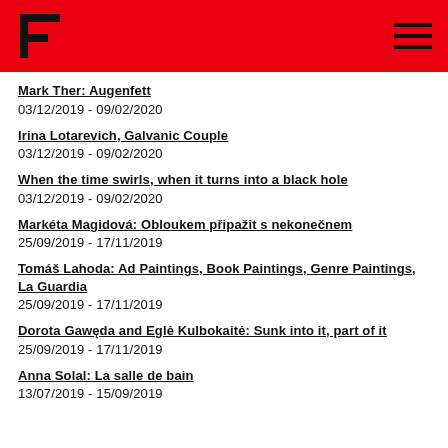[Figure (logo): Red header bar with stylized F logo on left and hamburger menu icon on right]
Mark Ther: Augenfett
03/12/2019 - 09/02/2020
Irina Lotarevich, Galvanic Couple
03/12/2019 - 09/02/2020
When the time swirls, when it turns into a black hole
03/12/2019 - 09/02/2020
Markéta Magidová: Obloukem připažit s nekonečnem
25/09/2019 - 17/11/2019
Tomáš Lahoda: Ad Paintings, Book Paintings, Genre Paintings, La Guardia
25/09/2019 - 17/11/2019
Dorota Gawęda and Eglė Kulbokaitė: Sunk into it, part of it
25/09/2019 - 17/11/2019
Anna Solal: La salle de bain
13/07/2019 - 15/09/2019